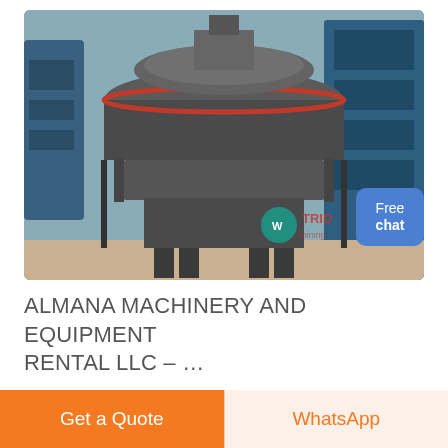[Figure (photo): Industrial heavy machinery (VSI crusher/industrial equipment) in a warehouse/factory setting. Gray metallic machine with circular top component, surrounded by blue industrial equipment in the background. TradeIndia watermark visible in lower right of image.]
ALMANA MACHINERY AND EQUIPMENT RENTAL LLC – …
Al MANA is a specialist heavy and light equipment hire rental company offering highly competitive rates across an extensive range of heavy equipment machinery.We boast one of the most modern fleets of near-new, low-
Get a Quote
WhatsApp